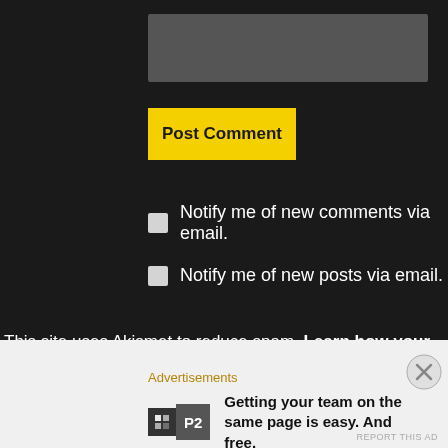[Figure (screenshot): Gray textarea input box for comment]
[Figure (screenshot): Yellow Post Comment button]
Notify me of new comments via email.
Notify me of new posts via email.
This site uses Akismet to reduce spam. Learn how your comment data is processed.
Advertisements
[Figure (logo): P2 logo — dark square with grid icon and P2 text]
Getting your team on the same page is easy. And free.
REPORT THIS AD